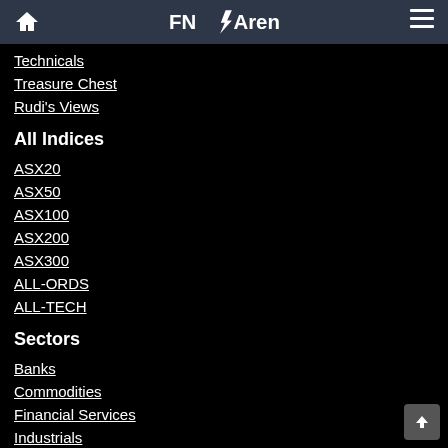FNArena
Technicals
Treasure Chest
Rudi's Views
All Indices
ASX20
ASX50
ASX100
ASX200
ASX300
ALL-ORDS
ALL-TECH
Sectors
Banks
Commodities
Financial Services
Industrials